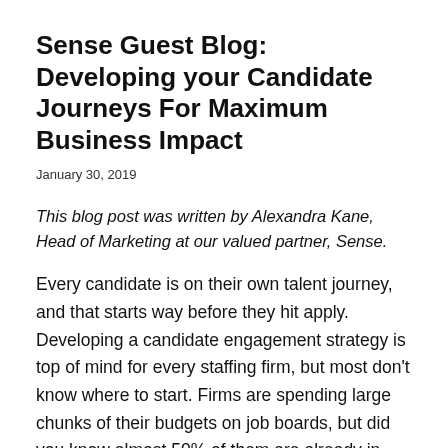Sense Guest Blog: Developing your Candidate Journeys For Maximum Business Impact
January 30, 2019
This blog post was written by Alexandra Kane, Head of Marketing at our valued partner, Sense.
Every candidate is on their own talent journey, and that starts way before they hit apply. Developing a candidate engagement strategy is top of mind for every staffing firm, but most don't know where to start. Firms are spending large chunks of their budgets on job boards, but did you know almost 50% of them are already in your ATS? A staffing firm's ATS is a treasure